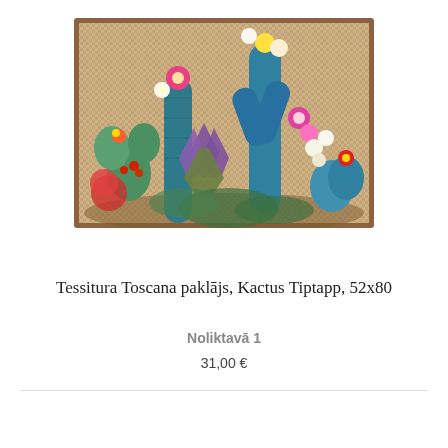[Figure (photo): A decorative rug featuring colorful cacti and flowering succulents on a woven beige/tan background with a brown border frame. The design shows various cacti with pink, yellow, white, and red flowers against a natural woven texture background.]
Tessitura Toscana paklājs, Kactus Tiptapp, 52x80
Noliktavā 1
31,00 €